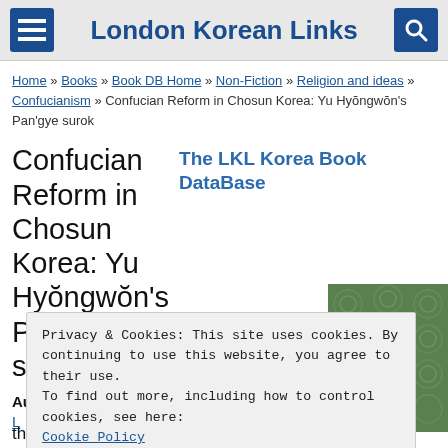London Korean Links
Home » Books » Book DB Home » Non-Fiction » Religion and ideas » Confucianism » Confucian Reform in Chosun Korea: Yu Hyŏngwŏn's Pan'gye surok
Confucian Reform in Chosun Korea: Yu Hyŏngwŏn's Pan'gye surok
The LKL Korea Book DataBase
Author: Bae Woosung, Sonny Kim, Yu Hyŏngwŏn
[Figure (photo): Green patterned book cover]
Privacy & Cookies: This site uses cookies. By continuing to use this website, you agree to their use. To find out more, including how to control cookies, see here: Cookie Policy
the Korean scholar and social